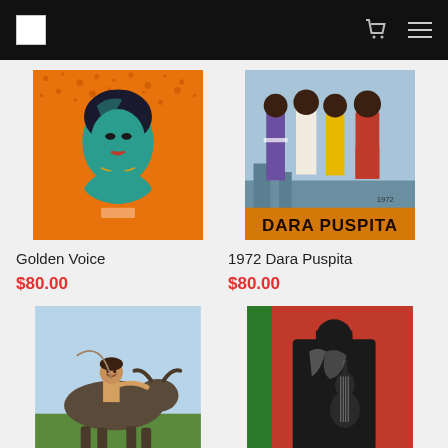Navigation bar with logo, cart icon, and menu icon
[Figure (photo): Pop art style portrait of a woman with teal skin tones on orange background - Golden Voice artwork]
Golden Voice
$80.00
[Figure (photo): 1972 Dara Puspita band photo showing four members in colorful 1970s outfits with orange text at bottom]
1972 Dara Puspita
$80.00
[Figure (photo): Photo of a boy riding a buffalo/ox statue outdoors]
[Figure (photo): Pop art style image of a woman playing guitar in black white and red]